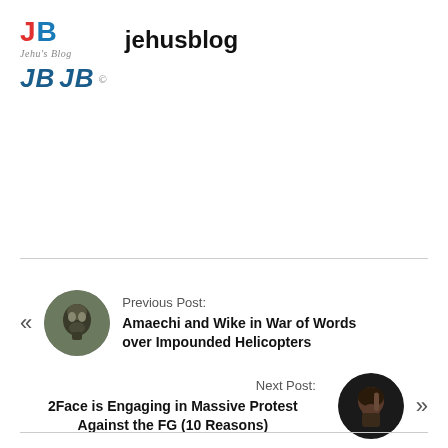[Figure (logo): JehusBlog logo with red J, blue B, italic subtitle 'Jehu's Blog', and two larger styled JB marks below]
jehusblog
Previous Post:
Amaechi and Wike in War of Words over Impounded Helicopters
Next Post:
2Face is Engaging in Massive Protest Against the FG (10 Reasons)